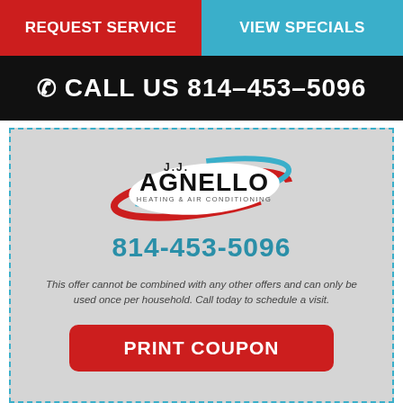REQUEST SERVICE | VIEW SPECIALS
CALL US 814-453-5096
[Figure (logo): J.J. Agnello Heating & Air Conditioning logo with red and blue oval swoosh design]
814-453-5096
This offer cannot be combined with any other offers and can only be used once per household. Call today to schedule a visit.
PRINT COUPON